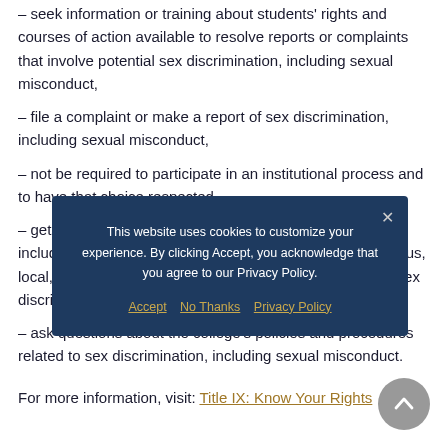– seek information or training about students' rights and courses of action available to resolve reports or complaints that involve potential sex discrimination, including sexual misconduct,
– file a complaint or make a report of sex discrimination, including sexual misconduct,
– not be required to participate in an institutional process and to have that choice respected,
– get information about available resources and support, including confidential resources available, as well as campus, local, state, and national resources for support related to sex discrimination, including sexual misconduct,
– ask questions about the college's policies and procedures related to sex discrimination, including sexual misconduct.
For more information, visit: Title IX: Know Your Rights
[Figure (screenshot): Cookie consent modal overlay with dark navy background. Text reads: 'This website uses cookies to customize your experience. By clicking Accept, you acknowledge that you agree to our Privacy Policy.' Links: Accept, No Thanks, Privacy Policy. An X close button is in the top-right corner.]